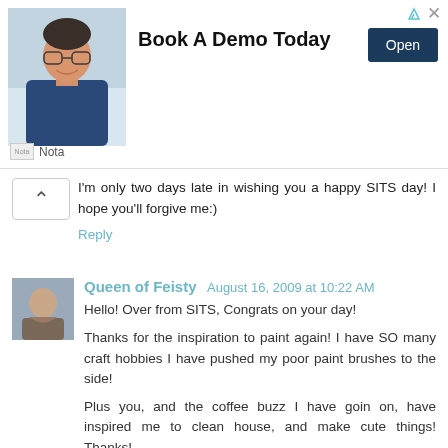[Figure (infographic): Advertisement banner: photo of smiling man in glasses and dark shirt, bold text 'Book A Demo Today', dark blue 'Open' button, Nota brand logo below]
I'm only two days late in wishing you a happy SITS day! I hope you'll forgive me:)
Reply
Queen of Feisty  August 16, 2009 at 10:22 AM
Hello! Over from SITS, Congrats on your day!
Thanks for the inspiration to paint again! I have SO many craft hobbies I have pushed my poor paint brushes to the side!
Plus you, and the coffee buzz I have goin on, have inspired me to clean house, and make cute things! Thanks!
Queen of Feisty